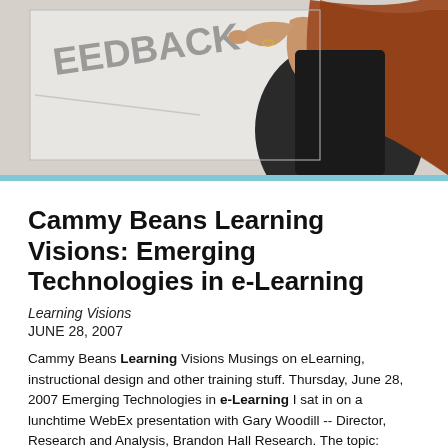[Figure (photo): A woman with red hair writing 'FEEDBACK' on a whiteboard, photographed from behind/side angle. She is wearing a dark sleeveless top.]
Cammy Beans Learning Visions: Emerging Technologies in e-Learning
Learning Visions
JUNE 28, 2007
Cammy Beans Learning Visions Musings on eLearning, instructional design and other training stuff. Thursday, June 28, 2007 Emerging Technologies in e-Learning I sat in on a lunchtime WebEx presentation with Gary Woodill -- Director, Research and Analysis, Brandon Hall Research. The topic: Emerging Technologies in e-Learning. Developed over 60 e-learning programs. In the 90s there were one or two ways to do e-Learning: CDRoms and then the web.